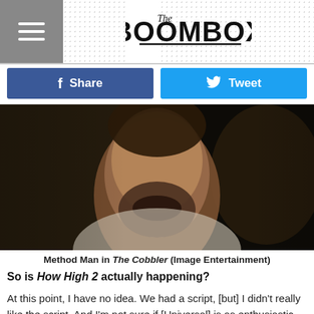The BoomBox
Share | Tweet
[Figure (photo): Close-up photo of Method Man's face, dark cinematic lighting, from the film The Cobbler]
Method Man in The Cobbler (Image Entertainment)
So is How High 2 actually happening?
At this point, I have no idea. We had a script, [but] I didn't really like the script. And I'm not sure if [Universal] is as enthusiastic as they would have been if we would had shot it